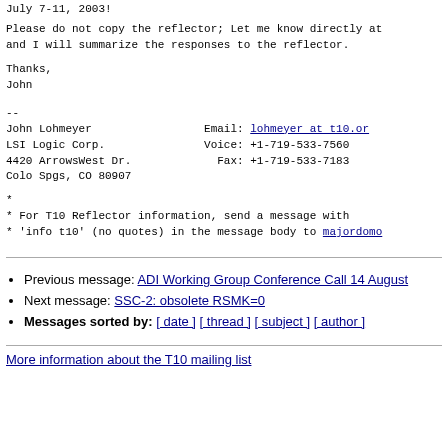July 7-11, 2003!
Please do not copy the reflector; Let me know directly at
and I will summarize the responses to the reflector.
Thanks,
John
--
John Lohmeyer                 Email: lohmeyer at t10.org
LSI Logic Corp.               Voice: +1-719-533-7560
4420 ArrowsWest Dr.             Fax: +1-719-533-7183
Colo Spgs, CO 80907
*
* For T10 Reflector information, send a message with
* 'info t10' (no quotes) in the message body to majordomo
Previous message: ADI Working Group Conference Call 14 August
Next message: SSC-2: obsolete RSMK=0
Messages sorted by: [ date ] [ thread ] [ subject ] [ author ]
More information about the T10 mailing list